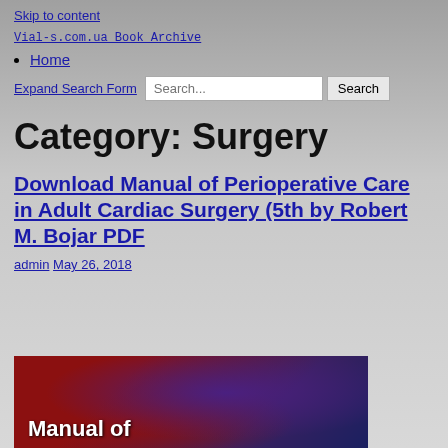Skip to content
Vial-s.com.ua Book Archive
Home
Expand Search Form Search...  Search
Category: Surgery
Download Manual of Perioperative Care in Adult Cardiac Surgery (5th by Robert M. Bojar PDF
admin May 26, 2018
[Figure (photo): Book cover showing 'Manual of' text in white on a dark red and blue background]